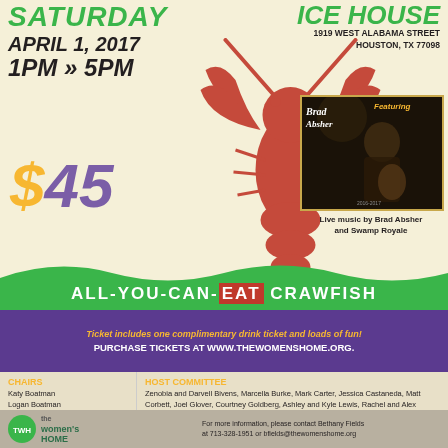SATURDAY APRIL 1, 2017 1PM >> 5PM
ICE HOUSE 1919 WEST ALABAMA STREET HOUSTON, TX 77098
[Figure (illustration): Large red crawfish silhouette in the center of the poster]
$45
[Figure (photo): Photo of Brad Absher performing with guitar, with 'Featuring' text and 'Brad Absher' logo overlay]
Live music by Brad Absher and Swamp Royale
ALL-YOU-CAN-EAT CRAWFISH
Ticket includes one complimentary drink ticket and loads of fun!
PURCHASE TICKETS AT WWW.THEWOMENSHOME.ORG.
CHAIRS
Katy Boatman
Logan Boatman
Meaghan Yorro
JP Yorro
HOST COMMITTEE
Zenobia and Darvell Bivens, Marcella Burke, Mark Carter, Jessica Castaneda, Matt Corbett, Joel Glover, Courtney Goldberg, Ashley and Kyle Lewis, Rachel and Alex Lopez, Courtney and Jeff Lyons, Sean Mata, Kelly Sandill, Helen Shultz, Barbara Vaughn
[Figure (logo): The Women's Home logo with green circle]
For more information, please contact Bethany Fields at 713-328-1951 or bfields@thewomenshome.org